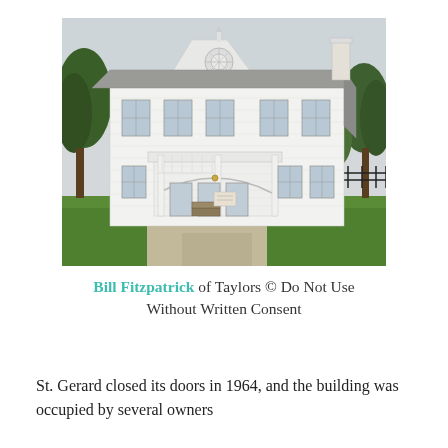[Figure (photo): A large two-story white clapboard building with a central gable, decorative round window, arched porch entry with columns, surrounded by green lawn and trees. Gray overcast sky.]
Bill Fitzpatrick of Taylors © Do Not Use Without Written Consent
St. Gerard closed its doors in 1964, and the building was occupied by several owners